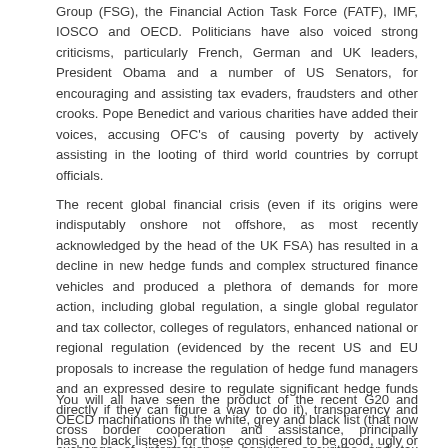Group (FSG), the Financial Action Task Force (FATF), IMF, IOSCO and OECD. Politicians have also voiced strong criticisms, particularly French, German and UK leaders, President Obama and a number of US Senators, for encouraging and assisting tax evaders, fraudsters and other crooks. Pope Benedict and various charities have added their voices, accusing OFC's of causing poverty by actively assisting in the looting of third world countries by corrupt officials.
The recent global financial crisis (even if its origins were indisputably onshore not offshore, as most recently acknowledged by the head of the UK FSA) has resulted in a decline in new hedge funds and complex structured finance vehicles and produced a plethora of demands for more action, including global regulation, a single global regulator and tax collector, colleges of regulators, enhanced national or regional regulation (evidenced by the recent US and EU proposals to increase the regulation of hedge fund managers and an expressed desire to regulate significant hedge funds directly if they can figure a way to do it), transparency and cross border cooperation and assistance, principally exchange of information in banking, securities and tax matters (such as an expansion of automatic reporting under the EU Savings Directive-EUSD II).
You will all have seen the product of the recent G20 and OECD machinations in the white, grey and black list (that now has no black listees) for those considered to be good, ugly or bad. And with potentially broad ranging sanctions for those who continue to offend the “not